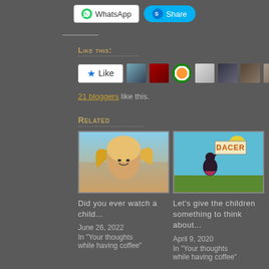[Figure (screenshot): WhatsApp share button and Skype Share button]
Like this:
[Figure (screenshot): Like button with 7 blogger avatar thumbnails]
21 bloggers like this.
Related
[Figure (photo): Woman with blonde hair blowing in the wind outdoors]
Did you ever watch a child...
June 26, 2022
In "Your thoughts while having coffee"
[Figure (illustration): Illustrated book cover showing a child holding up a sign reading DACER]
Let's give the children something to think about...
April 9, 2020
In "Your thoughts while having coffee"